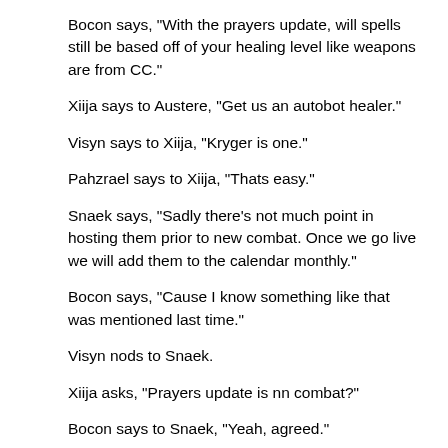Bocon says, "With the prayers update, will spells still be based off of your healing level like weapons are from CC."
Xiija says to Austere, "Get us an autobot healer."
Visyn says to Xiija, "Kryger is one."
Pahzrael says to Xiija, "Thats easy."
Snaek says, "Sadly there's not much point in hosting them prior to new combat. Once we go live we will add them to the calendar monthly."
Bocon says, "Cause I know something like that was mentioned last time."
Visyn nods to Snaek.
Xiija asks, "Prayers update is nn combat?"
Bocon says to Snaek, "Yeah, agreed."
Visyn says to Snaek, "That is the general sentiment I have heard."